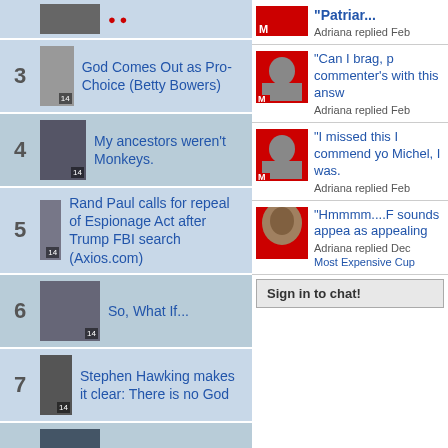3 God Comes Out as Pro-Choice (Betty Bowers)
4 My ancestors weren't Monkeys.
5 Rand Paul calls for repeal of Espionage Act after Trump FBI search (Axios.com)
6 So, What If...
7 Stephen Hawking makes it clear: There is no God
8 Life on Earth
9 Marjorie Trailer Greene for Christian Nationalism (Betty Bowers)
Adriana replied Feb
"Can I brag, p commenter's with this answ
Adriana replied Feb
"I missed this I commend yo Michel, I was.
Adriana replied Feb
"Hmmmm....F sounds appea as appealing
Adriana replied Dec
Most Expensive Cup
Sign in to chat!